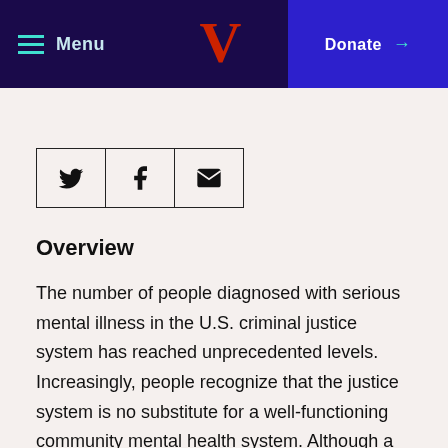Menu | V | Donate →
[Figure (other): Social share icons: Twitter bird icon, Facebook f icon, Email envelope icon, arranged in a row of bordered boxes]
Overview
The number of people diagnosed with serious mental illness in the U.S. criminal justice system has reached unprecedented levels. Increasingly, people recognize that the justice system is no substitute for a well-functioning community mental health system. Although a